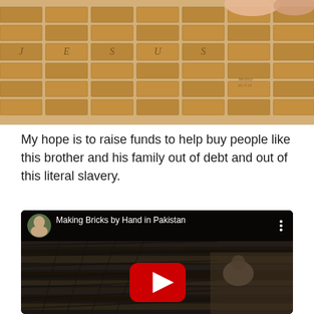[Figure (illustration): Illustration of bricks arranged in rows spelling 'JESUS', with hands reaching across them, set against a sandy/earthy background. Artist signature visible in lower right area.]
My hope is to raise funds to help buy people like this brother and his family out of debt and out of this literal slavery.
[Figure (screenshot): YouTube video thumbnail titled 'Making Bricks by Hand in Pakistan'. Shows a man crouching and working with clay/mud bricks in long rows. A YouTube play button (red rounded rectangle with white triangle) is centered. The video channel avatar (bald man) and title are shown in a dark header bar at the top of the thumbnail. Three vertical dots menu icon visible in top right.]